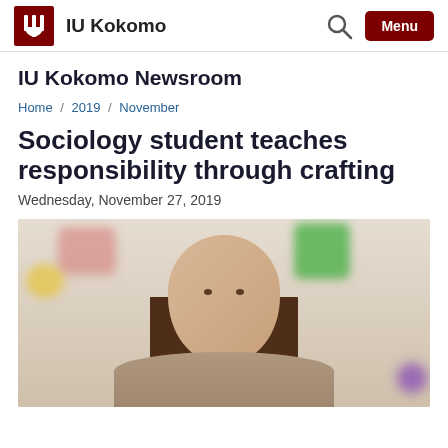IU Kokomo
IU Kokomo Newsroom
Home / 2019 / November
Sociology student teaches responsibility through crafting
Wednesday, November 27, 2019
[Figure (photo): Portrait photo of a young woman with straight brown hair smiling slightly, set against a blurred classroom background with colorful artwork (pink, yellow, green shapes) and a purple dot at bottom right.]